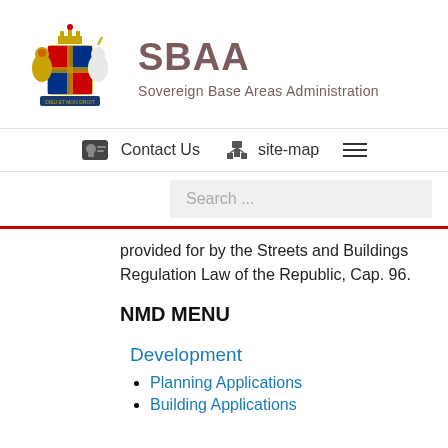[Figure (logo): UK Royal Coat of Arms - lion and unicorn with crown and shield]
SBAA
Sovereign Base Areas Administration
Contact Us   site-map
Search ...
provided for by the Streets and Buildings Regulation Law of the Republic, Cap. 96.
NMD MENU
Development
Planning Applications
Building Applications